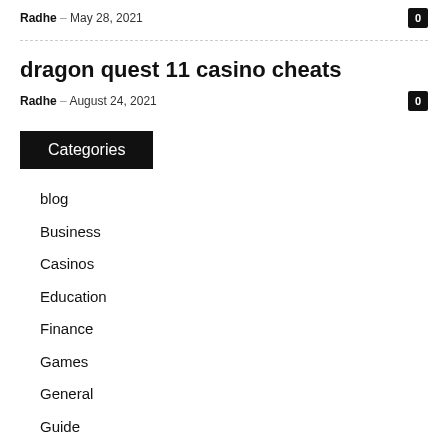Radhe – May 28, 2021
dragon quest 11 casino cheats
Radhe – August 24, 2021
Categories
blog
Business
Casinos
Education
Finance
Games
General
Guide
Health